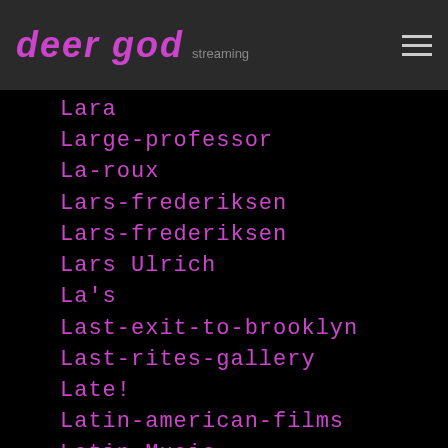deer god
Lara
Large-professor
La-roux
Lars-frederiksen
Lars-frederiksen
Lars Ulrich
La's
Last-exit-to-brooklyn
Last-rites-gallery
Late!
Latin-american-films
Latin Music
Latter Day Skanks
Laura-jane-grace
Laurel-canyon
Laurence Fishburne
Lauryn Hill